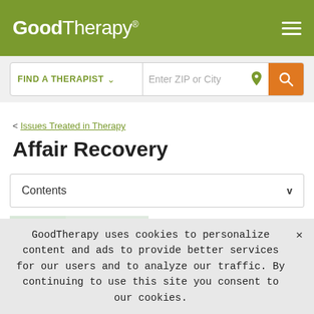[Figure (logo): GoodTherapy logo with registered trademark symbol on olive/green background with hamburger menu icon]
[Figure (screenshot): Search bar with FIND A THERAPIST dropdown and Enter ZIP or City text field with location pin icon and orange search button]
< Issues Treated in Therapy
Affair Recovery
Contents  v
[Figure (photo): Light-colored room or hallway photo, partially visible]
Recovery from infidelity can
GoodTherapy uses cookies to personalize content and ads to provide better services for our users and to analyze our traffic. By continuing to use this site you consent to our cookies.